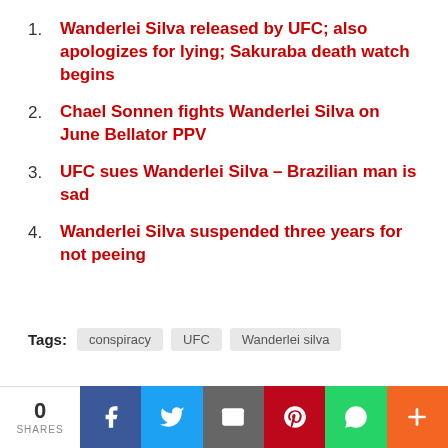Wanderlei Silva released by UFC; also apologizes for lying; Sakuraba death watch begins
Chael Sonnen fights Wanderlei Silva on June Bellator PPV
UFC sues Wanderlei Silva – Brazilian man is sad
Wanderlei Silva suspended three years for not peeing
Tags: conspiracy  UFC  Wanderlei silva
Previous Post
0 SHARES